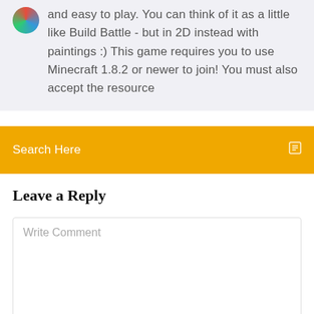and easy to play. You can think of it as a little like Build Battle - but in 2D instead with paintings :) This game requires you to use Minecraft 1.8.2 or newer to join! You must also accept the resource
Search Here
Leave a Reply
Write Comment